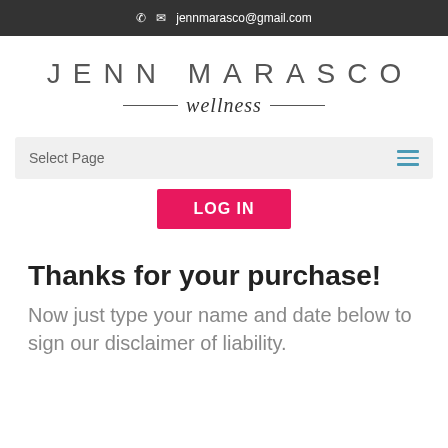✆  ✉ jennmarasco@gmail.com
[Figure (logo): Jenn Marasco Wellness logo — uppercase spaced text 'JENN MARASCO' above italic script 'wellness' flanked by horizontal lines]
Select Page
LOG IN
Thanks for your purchase!
Now just type your name and date below to sign our disclaimer of liability.